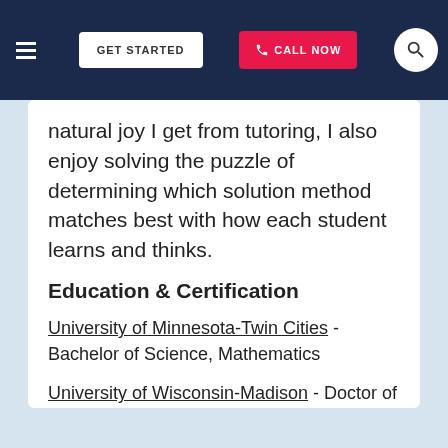GET STARTED | CALL NOW
natural joy I get from tutoring, I also enjoy solving the puzzle of determining which solution method matches best with how each student learns and thinks.
Education & Certification
University of Minnesota-Twin Cities - Bachelor of Science, Mathematics
University of Wisconsin-Madison - Doctor of Philosophy, Mathematics
View this Lynn Physical Chemistry Tutor ▶